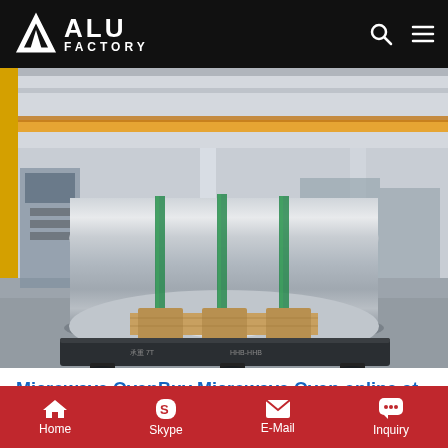ALU FACTORY
[Figure (photo): Large shiny aluminum coil/roll on a wooden pallet on a black weighing scale inside an industrial factory. The roll is wrapped with green strapping bands. Factory machinery and overhead crane visible in background.]
Microwave OvenBuy Microwave Oven online at best
Home  Skype  E-Mail  Inquiry